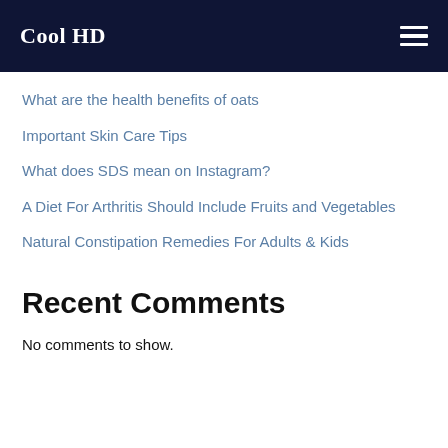Cool HD
What are the health benefits of oats
Important Skin Care Tips
What does SDS mean on Instagram?
A Diet For Arthritis Should Include Fruits and Vegetables
Natural Constipation Remedies For Adults & Kids
Recent Comments
No comments to show.